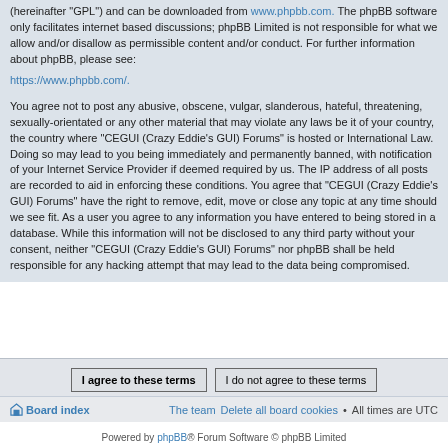(hereinafter "GPL") and can be downloaded from www.phpbb.com. The phpBB software only facilitates internet based discussions; phpBB Limited is not responsible for what we allow and/or disallow as permissible content and/or conduct. For further information about phpBB, please see: https://www.phpbb.com/.
You agree not to post any abusive, obscene, vulgar, slanderous, hateful, threatening, sexually-orientated or any other material that may violate any laws be it of your country, the country where “CEGUI (Crazy Eddie's GUI) Forums” is hosted or International Law. Doing so may lead to you being immediately and permanently banned, with notification of your Internet Service Provider if deemed required by us. The IP address of all posts are recorded to aid in enforcing these conditions. You agree that “CEGUI (Crazy Eddie's GUI) Forums” have the right to remove, edit, move or close any topic at any time should we see fit. As a user you agree to any information you have entered to being stored in a database. While this information will not be disclosed to any third party without your consent, neither “CEGUI (Crazy Eddie's GUI) Forums” nor phpBB shall be held responsible for any hacking attempt that may lead to the data being compromised.
I agree to these terms | I do not agree to these terms
Board index   The team   Delete all board cookies • All times are UTC
Powered by phpBB® Forum Software © phpBB Limited